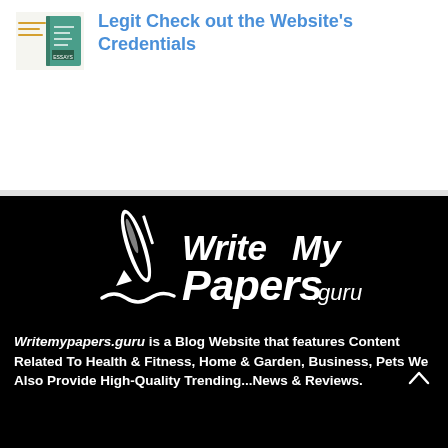[Figure (illustration): Small thumbnail image for article about checking website credentials - shows stacked papers/documents icon with orange and teal colors]
Legit Check out the Website's Credentials
[Figure (logo): WriteMyPapers.guru logo - white pen/pencil icon with cursive-style text 'WriteMyPapers.guru' on black background]
Writemypapers.guru is a Blog Website that features Content Related To Health & Fitness, Home & Garden, Business, Pets We Also Provide High-Quality Trending...News & Reviews.